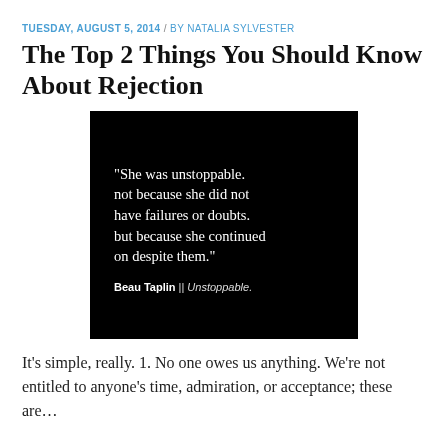TUESDAY, AUGUST 5, 2014 / BY NATALIA SYLVESTER
The Top 2 Things You Should Know About Rejection
[Figure (illustration): Black background quote image with white text reading: "She was unstoppable. not because she did not have failures or doubts. but because she continued on despite them." Attribution: Beau Taplin || Unstoppable.]
It’s simple, really. 1. No one owes us anything. We’re not entitled to anyone’s time, admiration, or acceptance; these are…